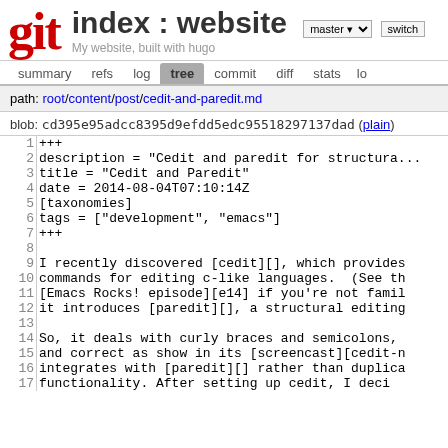index : website — master — My website, built with hugo — Gitolite us...
summary  refs  log  tree  commit  diff  stats  lo...
path: root/content/post/cedit-and-paredit.md
blob: cd395e95adcc8395d9efdd5edc95518297137dad (plain)
| line | code |
| --- | --- |
| 1 | +++ |
| 2 | description = "Cedit and paredit for structura... |
| 3 | title = "Cedit and Paredit" |
| 4 | date = 2014-08-04T07:10:14Z |
| 5 | [taxonomies] |
| 6 | tags = ["development", "emacs"] |
| 7 | +++ |
| 8 |  |
| 9 | I recently discovered [cedit][], which provides... |
| 10 | commands for editing c-like languages.  (See th... |
| 11 | [Emacs Rocks! episode][e14] if you're not famil... |
| 12 | it introduces [paredit][], a structural editing... |
| 13 |  |
| 14 | So, it deals with curly braces and semicolons,... |
| 15 | and correct as show in its [screencast][cedit-n... |
| 16 | integrates with [paredit][] rather than duplica... |
| 17 | functionality. After setting up cedit, I deci... |